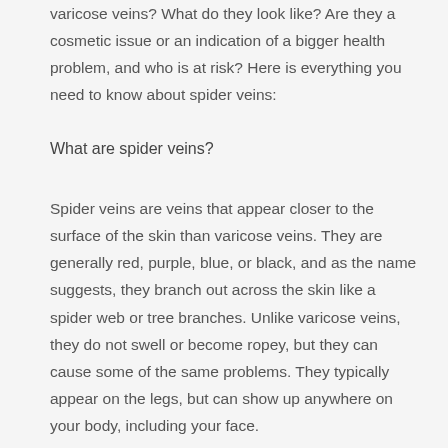varicose veins? What do they look like? Are they a cosmetic issue or an indication of a bigger health problem, and who is at risk? Here is everything you need to know about spider veins:
What are spider veins?
Spider veins are veins that appear closer to the surface of the skin than varicose veins. They are generally red, purple, blue, or black, and as the name suggests, they branch out across the skin like a spider web or tree branches. Unlike varicose veins, they do not swell or become ropey, but they can cause some of the same problems. They typically appear on the legs, but can show up anywhere on your body, including your face.